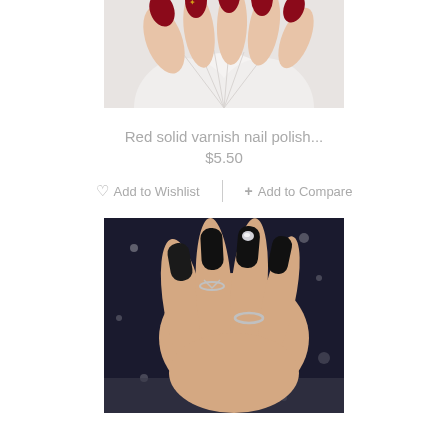[Figure (photo): Close-up of hands with dark red/maroon oval nail polish decorated with gold star embellishments, against a white fan/shell background]
Red solid varnish nail polish...
$5.50
♡  Add to Wishlist   |   + Add to Compare
[Figure (photo): Close-up of a hand with matte black long square nails, wearing silver rings, with a rhinestone accent on one nail, against a dark glittery background]